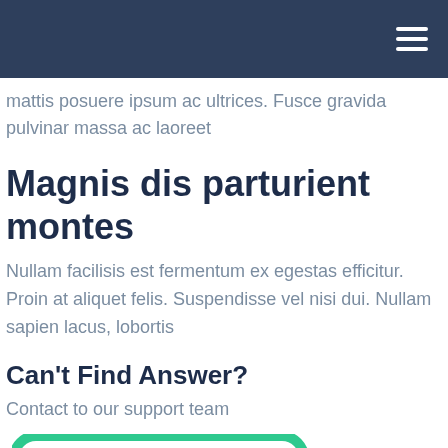mattis posuere ipsum ac ultrices. Fusce gravida pulvinar massa ac laoreet
Magnis dis parturient montes
Nullam facilisis est fermentum ex egestas efficitur. Proin at aliquet felis. Suspendisse vel nisi dui. Nullam sapien lacus, lobortis
Can't Find Answer?
Contact to our support team
[Figure (illustration): Green rounded rectangle icon resembling a chat or message box with horizontal lines and a dot inside]